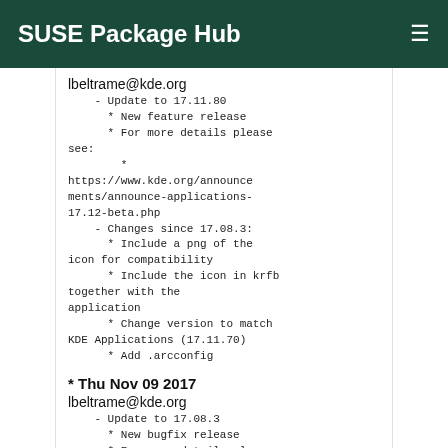SUSE Package Hub
lbeltrame@kde.org
    - Update to 17.11.80
      * New feature release
      * For more details please see:
        *
https://www.kde.org/announcements/announce-applications-17.12-beta.php
    - Changes since 17.08.3:
      * Include a png of the icon for compatibility
      * Include the icon in krfb together with the application
      * Change version to match KDE Applications (17.11.70)
      * Add .arcconfig
* Thu Nov 09 2017
lbeltrame@kde.org
    - Update to 17.08.3
      * New bugfix release
      * For more details please see:
        *
https://www.kde.org/announcements/announce-applications-17.08.3.php
    - Changes since 17.08.2:
      * None